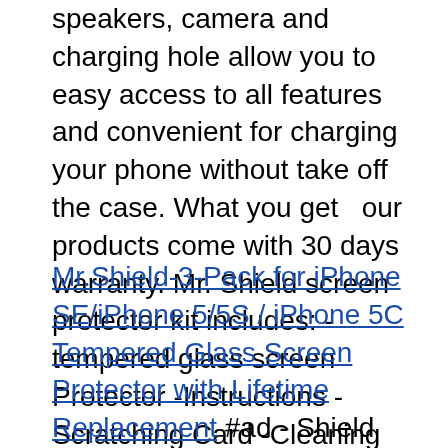speakers, camera and charging hole allow you to easy access to all features and convenient for charging your phone without take off the case. What you get   our products come with 30 days warranty. Mr. Shield screen protector kit includes: -tempered glass screen Protector -Instructions -Scratching Card -Cleaning Cloth -Dust collecter -Removing tapes Mr.
Mr.Shield-3-Pack for iPhone SE/iPhone 5/5S / iPhone 5C Tempered Glass Screen Protector with Lifetime Replacement #ad - Shield screen protector features: -100% bubble-free silicon adhesives -99% highest transparency -9H HARD-COATED scratch resistant protection -03mm ultra thin -All 2. 5d round edge Mr. Shield lifetime replacement : we will send you